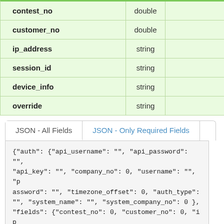|  | Type |  |
| --- | --- | --- |
| contest_no | double |  |
| customer_no | double |  |
| ip_address | string |  |
| session_id | string |  |
| device_info | string |  |
| override | string |  |
JSON - All Fields | JSON - Only Required Fields
{"auth": {"api_username": "", "api_password": "", "api_key": "", "company_no": 0, "username": "", "password": "", "timezone_offset": 0, "auth_type": "", "system_name": "", "system_company_no": 0 }, "fields": {"contest_no": 0, "customer_no": 0, "ip_address": "", "session_id": "", "device_info": "", "override": "" } }